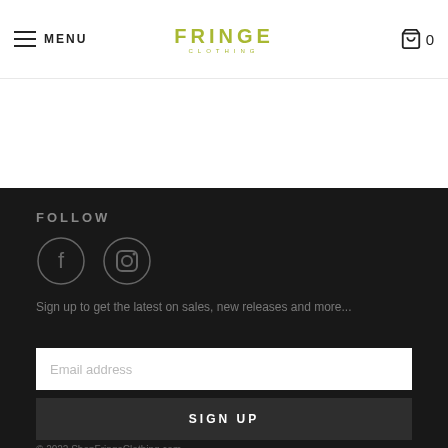MENU  FRINGE  0
Sold Out
FOLLOW
[Figure (illustration): Facebook and Instagram social media icons as outlined circles with f and camera symbols]
Sign up to get the latest on sales, new releases and more...
Email address
SIGN UP
© 2022 ShopFringeClothing.com.